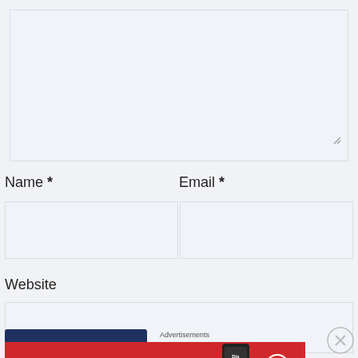[Figure (screenshot): Large textarea input box with resize handle at bottom-right corner, light gray background with border]
Name *
Email *
[Figure (screenshot): Two side-by-side input fields for Name and Email, light gray background with borders]
Website
[Figure (screenshot): Single input field for Website URL, light gray background with border]
[Figure (screenshot): Dark navy blue submit button]
Advertisements
[Figure (infographic): Red Pocket Casts advertisement banner: 'An app by listeners, for listeners.' with phone image and Pocket Casts logo]